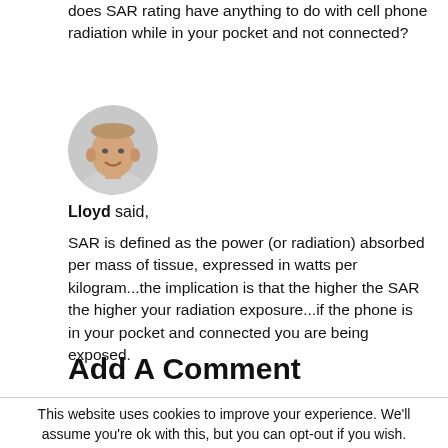does SAR rating have anything to do with cell phone radiation while in your pocket and not connected?
[Figure (photo): Circular avatar photo of Lloyd, a smiling bald man]
Lloyd said,
SAR is defined as the power (or radiation) absorbed per mass of tissue, expressed in watts per kilogram...the implication is that the higher the SAR the higher your radiation exposure...if the phone is in your pocket and connected you are being exposed.
Add A Comment
This website uses cookies to improve your experience. We'll assume you're ok with this, but you can opt-out if you wish.